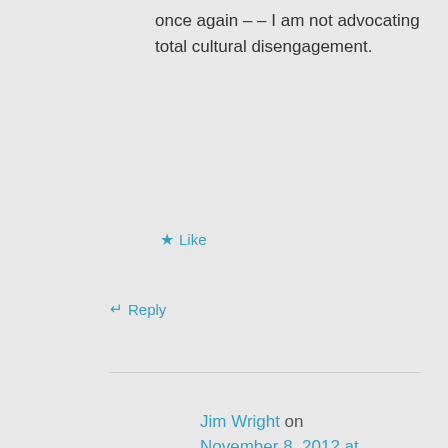once again – – I am not advocating total cultural disengagement.
★ Like
↵ Reply
Jim Wright on November 8, 2012 at 12:44 pm
OK. Thanks for clarifying. I stand corrected.
★ Like